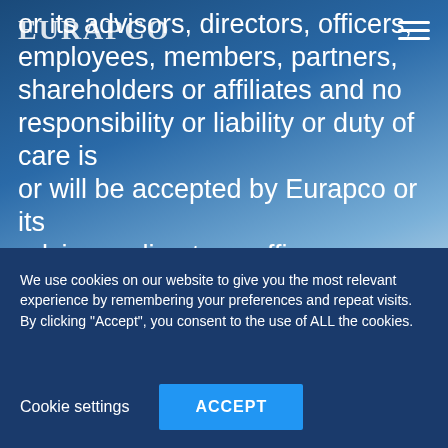EURAPCO
or its advisors, directors, officers, employees, members, partners, shareholders or affiliates and no responsibility or liability or duty of care is or will be accepted by Eurapco or its advisors, directors, officers, employees, members, partners, shareholders or affiliates as to the accuracy, completeness, reliability, reasonableness or achievement of any information or the opinions contained in any
We use cookies on our website to give you the most relevant experience by remembering your preferences and repeat visits. By clicking "Accept", you consent to the use of ALL the cookies.
Cookie settings
ACCEPT